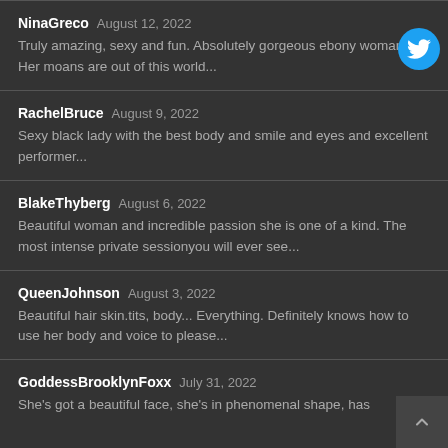NinaGreco August 12, 2022
Truly amazing, sexy and fun. Absolutely gorgeous ebony woman. Her moans are out of this world...
RachelBruce August 9, 2022
Sexy black lady with the best body and smile and eyes and excellent performer...
BlakeThyberg August 6, 2022
Beautiful woman and incredible passion she is one of a kind. The most intense private sessionyou will ever see...
QueenJohnson August 3, 2022
Beautiful hair skin.tits, body... Everything. Definitely knows how to use her body and voice to please...
GoddessBrooklynFoxx July 31, 2022
She's got a beautiful face, she's in phenomenal shape, has